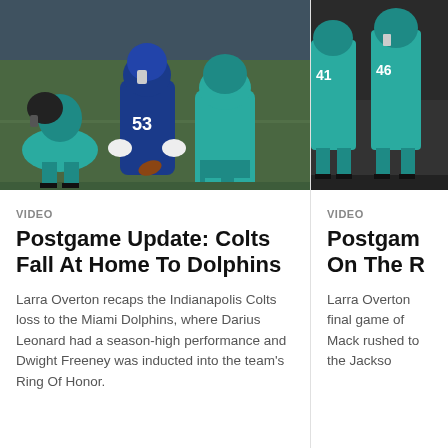[Figure (photo): NFL football players on the field, including a player wearing #53 in a blue Colts uniform facing opposing team players in teal/aqua Dolphins uniforms]
VIDEO
Postgame Update: Colts Fall At Home To Dolphins
Larra Overton recaps the Indianapolis Colts loss to the Miami Dolphins, where Darius Leonard had a season-high performance and Dwight Freeney was inducted into the team's Ring Of Honor.
[Figure (photo): NFL football players on the sidelines, players wearing teal/aqua uniforms and numbers 41 and 46 visible]
VIDEO
Postgame On The R
Larra Overton final game of Mack rushed to the Jackso